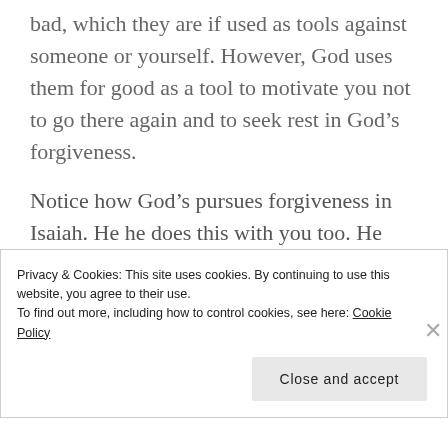bad, which they are if used as tools against someone or yourself.  However, God uses them for good as a tool to motivate you not to go there again and to seek rest in God’s forgiveness.
Notice how God’s pursues forgiveness in Isaiah.  He he does this with you too.  He pursues you through the work of Christ on the cross that shed His blood as your
Privacy & Cookies: This site uses cookies. By continuing to use this website, you agree to their use.
To find out more, including how to control cookies, see here: Cookie Policy
Close and accept